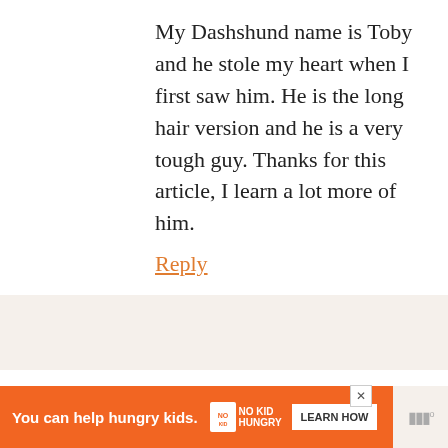My Dashshund name is Toby and he stole my heart when I first saw him. He is the long hair version and he is a very tough guy. Thanks for this article, I learn a lot more of him.
Reply
Jessica Rhae says
October 25, 2018 at 7:11 AM
Dachshunds are the best.
[Figure (screenshot): Orange advertisement bar at bottom: 'You can help hungry kids.' with No Kid Hungry logo and 'LEARN HOW' button]